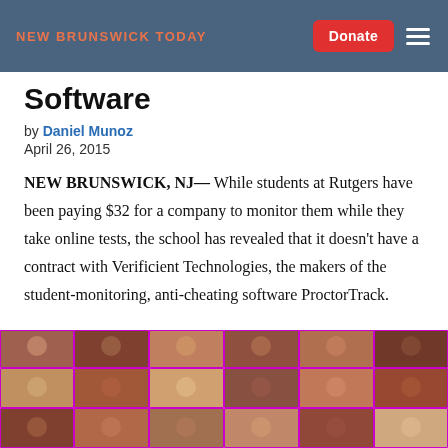NEW BRUNSWICK TODAY
Software
by Daniel Munoz
April 26, 2015
NEW BRUNSWICK, NJ— While students at Rutgers have been paying $32 for a company to monitor them while they take online tests, the school has revealed that it doesn't have a contract with Verificient Technologies, the makers of the student-monitoring, anti-cheating software ProctorTrack.
[Figure (photo): Grid of student face photos with purple/magenta borders on dark background, appearing to show students being monitored via webcam]